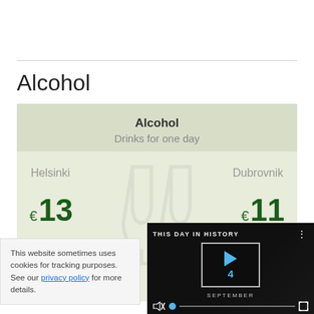Alcohol
Alcohol
Drinks for one day
Helsinki
€13
Dubrovnik
€11
[Figure (screenshot): Video thumbnail for 'This Day in History' showing September 4, with play button and video progress controls]
This website sometimes uses cookies for tracking purposes. See our privacy policy for more details.